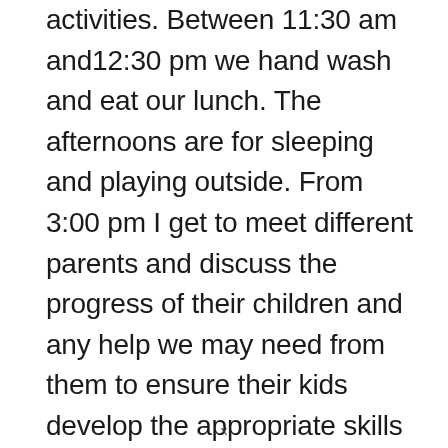activities. Between 11:30 am and12:30 pm we hand wash and eat our lunch. The afternoons are for sleeping and playing outside. From 3:00 pm I get to meet different parents and discuss the progress of their children and any help we may need from them to ensure their kids develop the appropriate skills required as per their age
x